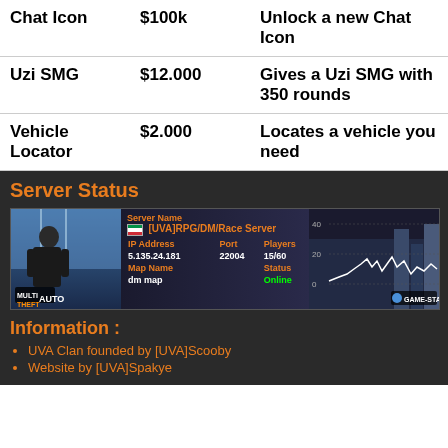| Item | Price | Description |
| --- | --- | --- |
| Chat Icon | $100k | Unlock a new Chat Icon |
| Uzi SMG | $12.000 | Gives a Uzi SMG with 350 rounds |
| Vehicle Locator | $2.000 | Locates a vehicle you need |
Server Status
[Figure (screenshot): Server status banner showing [UVA]RPG/DM/Race Server, IP 5.135.24.181, Port 22004, Players 15/60, Map dm map, Status Online, with player graph from GAME-STATE.COM]
Information :
UVA Clan founded by [UVA]Scooby
Website by [UVA]Spakye